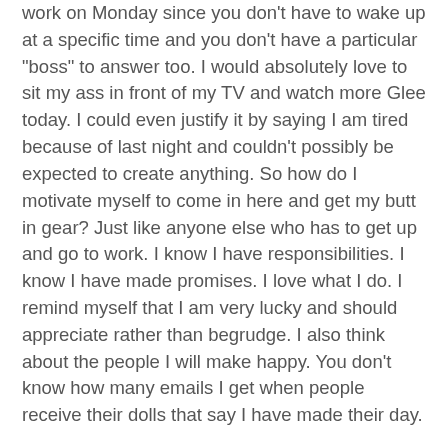work on Monday since you don't have to wake up at a specific time and you don't have a particular "boss" to answer too. I would absolutely love to sit my ass in front of my TV and watch more Glee today. I could even justify it by saying I am tired because of last night and couldn't possibly be expected to create anything. So how do I motivate myself to come in here and get my butt in gear? Just like anyone else who has to get up and go to work. I know I have responsibilities. I know I have made promises. I love what I do. I remind myself that I am very lucky and should appreciate rather than begrudge. I also think about the people I will make happy. You don't know how many emails I get when people receive their dolls that say I have made their day.
So if you have ever considering starting your own 'at home business' but you are not sure if you have the discipline... just know that if you have the discipline to get up and go to work then you have it in you to do it for yourself. It isn't like you suddenly don't have the responsibilities you had before. They are still there. Sure, you have different worries and stresses. Following your dreams is very satisfying... I